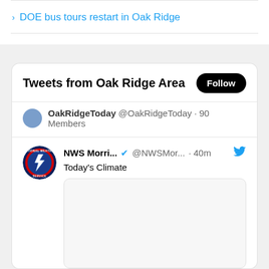DOE bus tours restart in Oak Ridge
[Figure (screenshot): Twitter/X embedded widget titled 'Tweets from Oak Ridge Area' with a Follow button. Shows OakRidgeToday @OakRidgeToday · 90 Members. Tweet from NWS Morri... @NWSMor... · 40m with text 'Today's Climate' and a placeholder image below.]